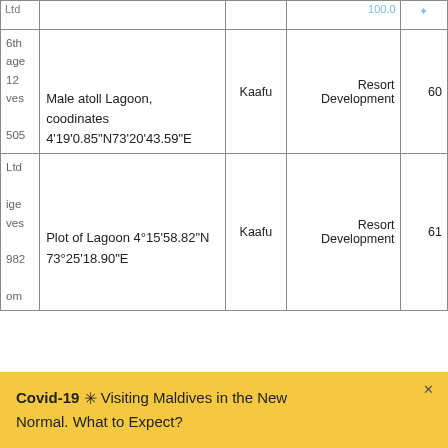|  | Location | Atoll | Type | No. |
| --- | --- | --- | --- | --- |
| Ltd
6th
age
12
ves
505 | Male atoll Lagoon,
coodinates
4'19'0.85"N73'20'43.59"E | Kaafu | Resort
Development | 60 |
| Ltd
ige
ves
982
om | Plot of Lagoon 4°15'58.82"N
73°25'18.90"E | Kaafu | Resort
Development | 61 |
Covid-19 ✳ Visiting Maldives in the New Normal. What to Expect?